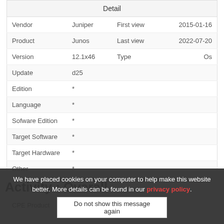| Detail |
| --- |
| Vendor | Juniper | First view | 2015-01-16 |
| Product | Junos | Last view | 2022-07-20 |
| Version | 12.1x46 | Type | Os |
| Update | d25 |  |  |
| Edition | * |  |  |
| Language | * |  |  |
| Sofware Edition | * |  |  |
| Target Software | * |  |  |
| Target Hardware | * |  |  |
| Other | * |  |  |
|  |  |  |  |
| CPE Product | cpe:2.3:o:juniper:junos |  |  |
We have placed cookies on your computer to help make this website better. More details can be found in our privacy policy.
Activity : Overall